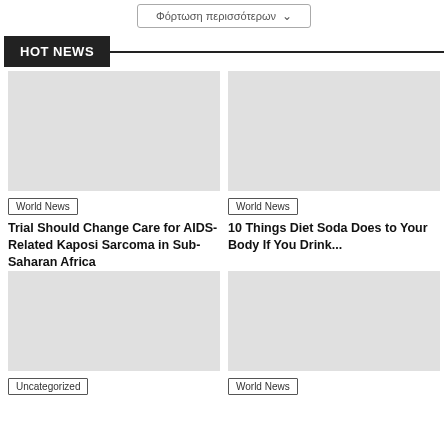Φόρτωση περισσότερων
HOT NEWS
[Figure (photo): News article image placeholder (left, top row)]
World News
Trial Should Change Care for AIDS-Related Kaposi Sarcoma in Sub-Saharan Africa
[Figure (photo): News article image placeholder (right, top row)]
World News
10 Things Diet Soda Does to Your Body If You Drink...
[Figure (photo): News article image placeholder (left, bottom row)]
Uncategorized
[Figure (photo): News article image placeholder (right, bottom row)]
World News